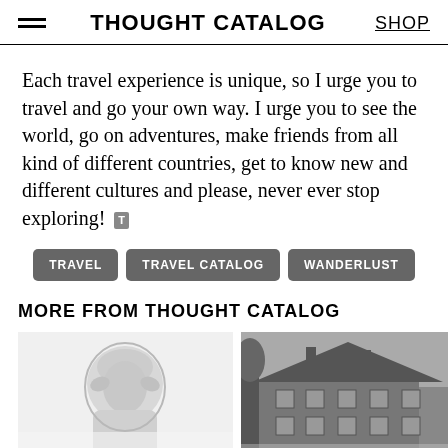THOUGHT CATALOG | SHOP
Each travel experience is unique, so I urge you to travel and go your own way. I urge you to see the world, go on adventures, make friends from all kind of different countries, get to know new and different cultures and please, never ever stop exploring!
TRAVEL
TRAVEL CATALOG
WANDERLUST
MORE FROM THOUGHT CATALOG
[Figure (photo): Woman with towel on head looking in mirror, black and white photo]
[Figure (photo): Large house or mansion, black and white photo]